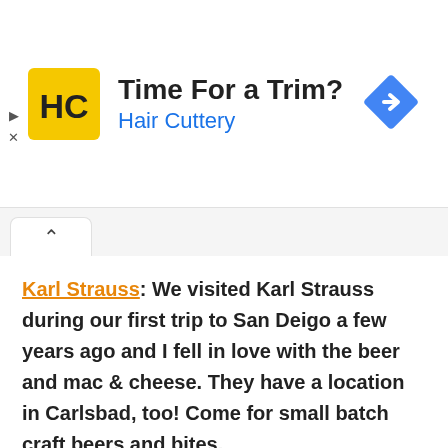[Figure (advertisement): Hair Cuttery ad banner with yellow HC logo square, text 'Time For a Trim?' in bold black and 'Hair Cuttery' in blue, and a blue diamond navigation arrow icon on the right]
Karl Strauss: We visited Karl Strauss during our first trip to San Deigo a few years ago and I fell in love with the beer and mac & cheese. They have a location in Carlsbad, too! Come for small batch craft beers and bites.